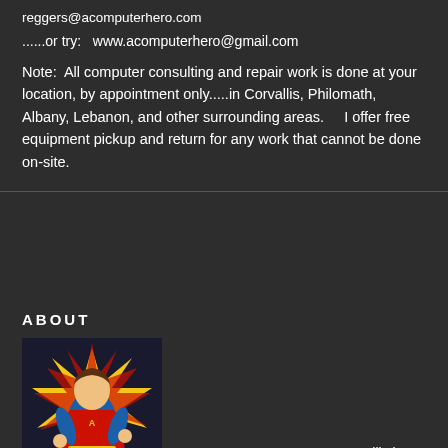reggers@acomputerhero.com
......or try:   www.acomputerhero@gmail.com
Note:  All computer consulting and repair work is done at your location, by appointment only.....in Corvallis, Philomath, Albany, Lebanon, and other surrounding areas.     I offer free equipment pickup and return for any work that cannot be done on-site.
ABOUT
[Figure (illustration): Comic-style superhero illustration of a man in a blue and red costume with a yellow belt, posed heroically against a colorful starburst background in red and yellow]
A Computer Hero came to Corvallis in 2009, arriving from Orange County, CA, where the company thrived for ten years.  Bob, in this company and